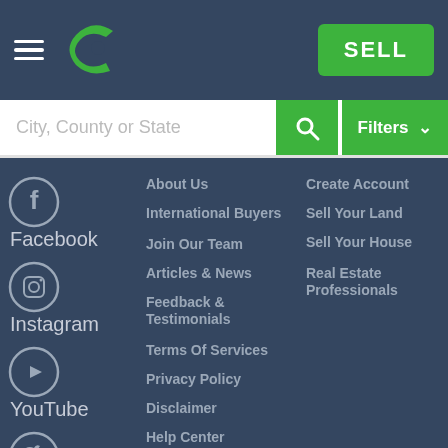[Figure (logo): Green letter C logo]
SELL
City, County or State
Filters
Facebook
Instagram
YouTube
Twitter
About Us
International Buyers
Join Our Team
Articles & News
Feedback & Testimonials
Terms Of Services
Privacy Policy
Disclaimer
Help Center
Contact Us
Create Account
Sell Your Land
Sell Your House
Real Estate Professionals